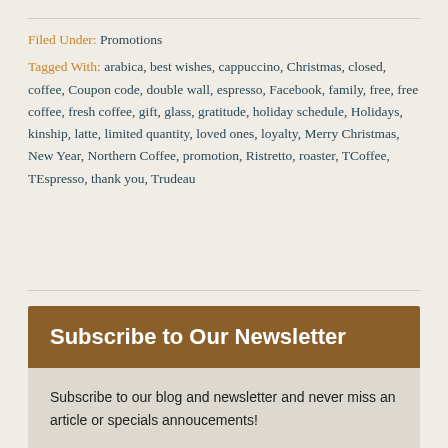Filed Under: Promotions
Tagged With: arabica, best wishes, cappuccino, Christmas, closed, coffee, Coupon code, double wall, espresso, Facebook, family, free, free coffee, fresh coffee, gift, glass, gratitude, holiday schedule, Holidays, kinship, latte, limited quantity, loved ones, loyalty, Merry Christmas, New Year, Northern Coffee, promotion, Ristretto, roaster, TCoffee, TEspresso, thank you, Trudeau
Subscribe to Our Newsletter
Subscribe to our blog and newsletter and never miss an article or specials annoucements!